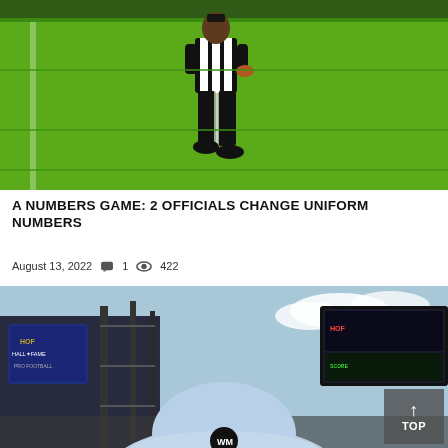[Figure (photo): NFL referee in black and white striped uniform walking on bright green football field, holding a football]
A NUMBERS GAME: 2 OFFICIALS CHANGE UNIFORM NUMBERS
August 13, 2022  💬 1  👁 422
[Figure (photo): Person wearing a light blue hat with 'WM' logo at NFL Hall of Fame event venue with scoreboard and stage visible in background]